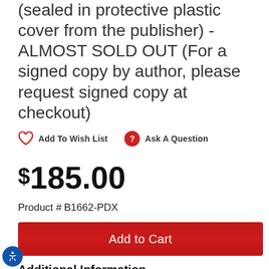(sealed in protective plastic cover from the publisher) - ALMOST SOLD OUT (For a signed copy by author, please request signed copy at checkout)
Add To Wish List   Ask A Question
$185.00
Product #  B1662-PDX
Add to Cart
Additional Information
Medium: Hardcover Book